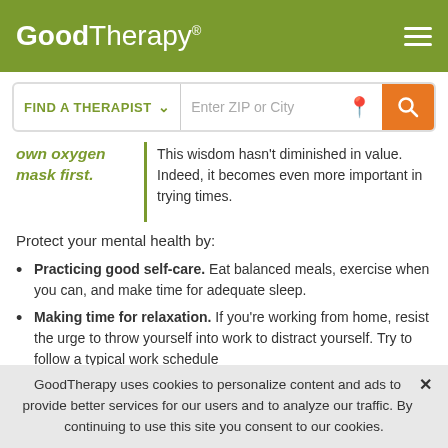GoodTherapy®
own oxygen mask first.
This wisdom hasn't diminished in value. Indeed, it becomes even more important in trying times.
Protect your mental health by:
Practicing good self-care. Eat balanced meals, exercise when you can, and make time for adequate sleep.
Making time for relaxation. If you're working from home, resist the urge to throw yourself into work to distract yourself. Try to follow a typical work schedule
GoodTherapy uses cookies to personalize content and ads to provide better services for our users and to analyze our traffic. By continuing to use this site you consent to our cookies.